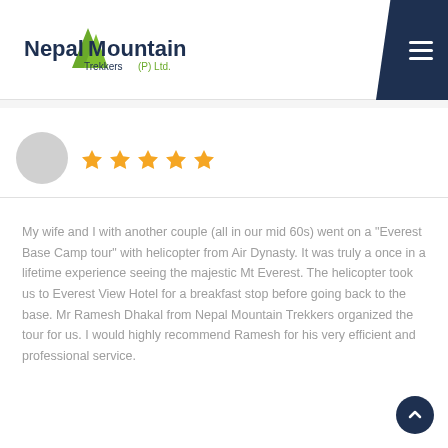[Figure (logo): Nepal Mountain Trekkers (P) Ltd. logo with green mountain peak graphic and dark blue text]
[Figure (other): Five gold star rating icons]
My wife and I with another couple (all in our mid 60s) went on a "Everest Base Camp tour" with helicopter from Air Dynasty. It was truly a once in a lifetime experience seeing the majestic Mt Everest. The helicopter took us to Everest View Hotel for a breakfast stop before going back to the base. Mr Ramesh Dhakal from Nepal Mountain Trekkers organized the tour for us. I would highly recommend Ramesh for his very efficient and professional service.